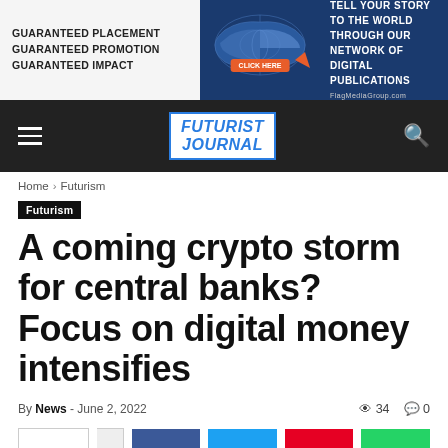[Figure (infographic): Advertisement banner: left side shows 'Guaranteed Placement Guaranteed Promotion Guaranteed Impact' text on light background; center shows dark blue world map graphic with orange CLICK HERE button; right side shows 'Tell your story to the world through our network of digital publications' text on dark blue background with FlagMediaGroup.com URL]
FUTURIST JOURNAL
Home › Futurism
Futurism
A coming crypto storm for central banks? Focus on digital money intensifies
By News - June 2, 2022  👁 34  💬 0